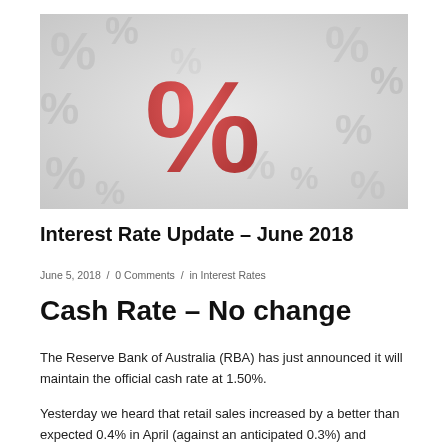[Figure (photo): A red percent sign (%) in 3D standing prominently among many grey/white percent signs scattered on a surface, representing interest rates.]
Interest Rate Update – June 2018
June 5, 2018  /  0 Comments  /  in Interest Rates
Cash Rate – No change
The Reserve Bank of Australia (RBA) has just announced it will maintain the official cash rate at 1.50%.
Yesterday we heard that retail sales increased by a better than expected 0.4% in April (against an anticipated 0.3%) and company profits rose 5.9% in the